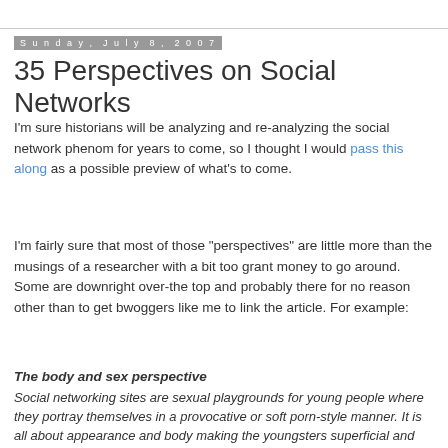Sunday, July 8, 2007
35 Perspectives on Social Networks
I'm sure historians will be analyzing and re-analyzing the social network phenom for years to come, so I thought I would pass this along as a possible preview of what's to come.
I'm fairly sure that most of those "perspectives" are little more than the musings of a researcher with a bit too grant money to go around. Some are downright over-the top and probably there for no reason other than to get bwoggers like me to link the article. For example:
The body and sex perspective
Social networking sites are sexual playgrounds for young people where they portray themselves in a provocative or soft porn-style manner. It is all about appearance and body making the youngsters superficial and shallow.